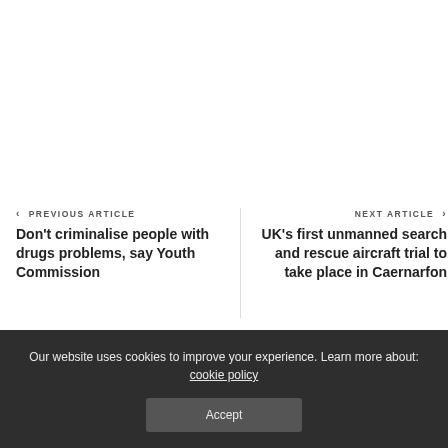‹ PREVIOUS ARTICLE — Don't criminalise people with drugs problems, say Youth Commission
NEXT ARTICLE › — UK's first unmanned search and rescue aircraft trial to take place in Caernarfon
Our website uses cookies to improve your experience. Learn more about: cookie policy
Accept